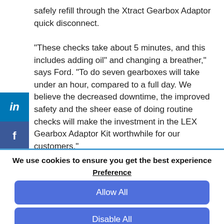safely refill through the Xtract Gearbox Adaptor quick disconnect.

“These checks take about 5 minutes, and this includes adding oil” and changing a breather,” says Ford. “To do seven gearboxes will take under an hour, compared to a full day. We believe the decreased downtime, the improved safety and the sheer ease of doing routine checks will make the investment in the LEX Gearbox Adaptor Kit worthwhile for our customers.”
We use cookies to ensure you get the best experience
Preference
Allow All
Disable All